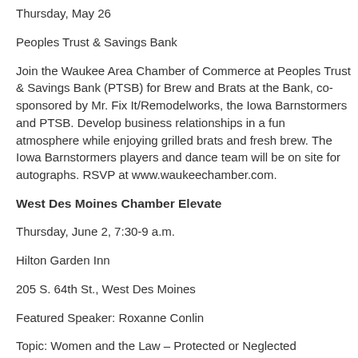Thursday, May 26
Peoples Trust & Savings Bank
Join the Waukee Area Chamber of Commerce at Peoples Trust & Savings Bank (PTSB) for Brew and Brats at the Bank, co-sponsored by Mr. Fix It/Remodelworks, the Iowa Barnstormers and PTSB. Develop business relationships in a fun atmosphere while enjoying grilled brats and fresh brew. The Iowa Barnstormers players and dance team will be on site for autographs. RSVP at www.waukeechamber.com.
West Des Moines Chamber Elevate
Thursday, June 2, 7:30-9 a.m.
Hilton Garden Inn
205 S. 64th St., West Des Moines
Featured Speaker: Roxanne Conlin
Topic: Women and the Law – Protected or Neglected
Chamber Member: $10